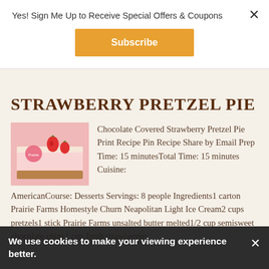Yes! Sign Me Up to Receive Special Offers & Coupons
Subscribe
STRAWBERRY PRETZEL PIE
[Figure (photo): A slice of strawberry pretzel pie on a pink plate garnished with fresh strawberries]
Chocolate Covered Strawberry Pretzel Pie Print Recipe Pin Recipe Share by Email Prep Time: 15 minutesTotal Time: 15 minutes Cuisine: AmericanCourse: Desserts Servings: 8 people Ingredients1 carton Prairie Farms Homestyle Churn Neapolitan Light Ice Cream2 cups pretzels1 stick Prairie Farms unsalted butter melted1/2 cup semisweet chocolate chips1 cup fresh strawberries
We use cookies to make your viewing experience better.